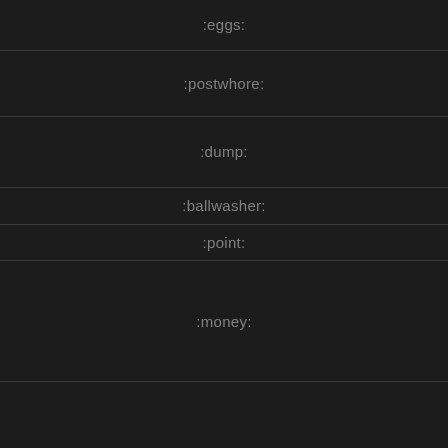:eggs:
:postwhore:
:dump:
:ballwasher:
:point:
:money: